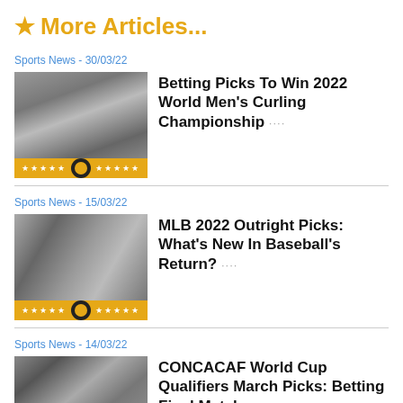★ More Articles...
Sports News - 30/03/22
[Figure (photo): Grayscale photo of a curling player in action with star ratings overlay]
Betting Picks To Win 2022 World Men's Curling Championship ····
Sports News - 15/03/22
[Figure (photo): Grayscale photo of baseball players with star ratings overlay]
MLB 2022 Outright Picks: What's New In Baseball's Return? ····
Sports News - 14/03/22
[Figure (photo): Grayscale photo of soccer players grouped together]
CONCACAF World Cup Qualifiers March Picks: Betting Final Matches